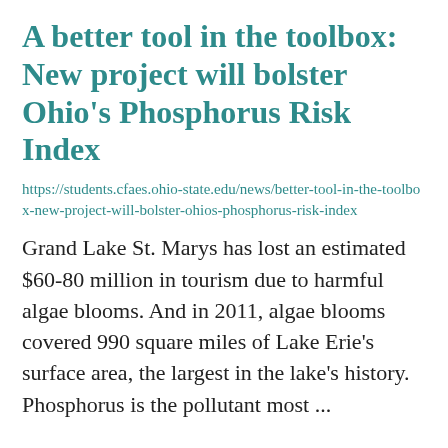A better tool in the toolbox: New project will bolster Ohio's Phosphorus Risk Index
https://students.cfaes.ohio-state.edu/news/better-tool-in-the-toolbox-new-project-will-bolster-ohios-phosphorus-risk-index
Grand Lake St. Marys has lost an estimated $60-80 million in tourism due to harmful algae blooms. And in 2011, algae blooms covered 990 square miles of Lake Erie's surface area, the largest in the lake's history. Phosphorus is the pollutant most ...